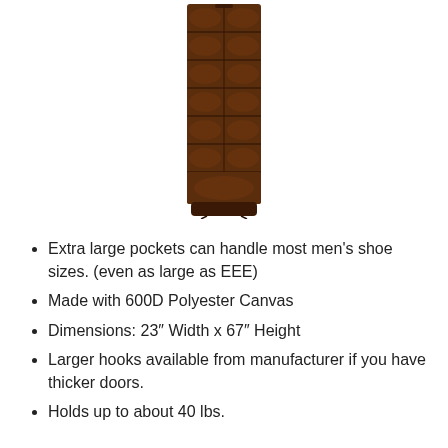[Figure (photo): A tall, narrow dark brown shoe organizer with multiple pockets arranged in rows, photographed against a white background.]
Extra large pockets can handle most men’s shoe sizes. (even as large as EEE)
Made with 600D Polyester Canvas
Dimensions: 23″ Width x 67″ Height
Larger hooks available from manufacturer if you have thicker doors.
Holds up to about 40 lbs.